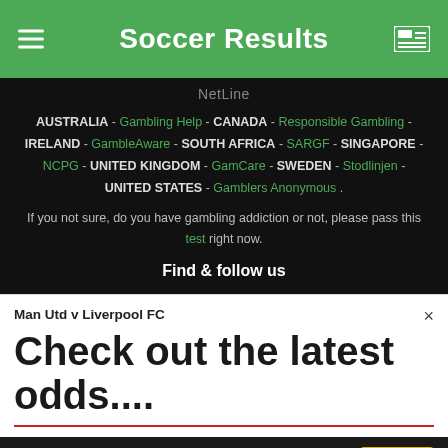Soccer Results
NetLine
AUSTRALIA - Gambling Help - CANADA - Responsible Gambling - IRELAND - GambleAware - SOUTH AFRICA - SARGF - SINGAPORE - NCPG - UNITED KINGDOM - GamCare - SWEDEN - Stodlinjen - UNITED STATES - Gamblers Anonymous .
If you not sure, do you have gambling addiction or not, please pass this test right now.
Find & follow us
Man Utd v Liverpool FC
Check out the latest odds....
We use cookies to ensure you get the best experience on our website. More info